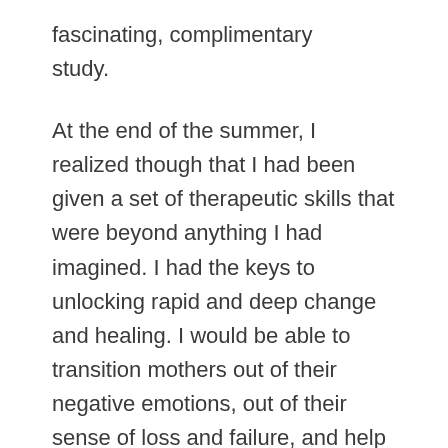fascinating, complimentary study.
At the end of the summer, I realized though that I had been given a set of therapeutic skills that were beyond anything I had imagined. I had the keys to unlocking rapid and deep change and healing. I would be able to transition mothers out of their negative emotions, out of their sense of loss and failure, and help them re-connect with their positive sense of self as a mother